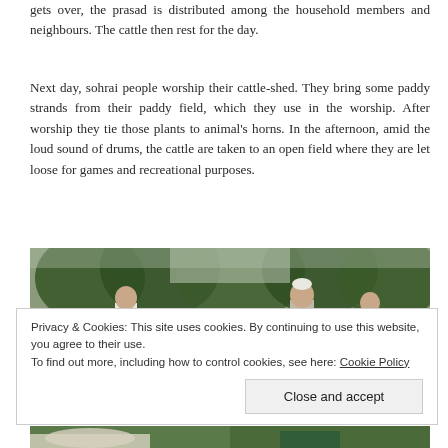gets over, the prasad is distributed among the household members and neighbours. The cattle then rest for the day.
Next day, sohrai people worship their cattle-shed. They bring some paddy strands from their paddy field, which they use in the worship. After worship they tie those plants to animal's horns. In the afternoon, amid the loud sound of drums, the cattle are taken to an open field where they are let loose for games and recreational purposes.
[Figure (photo): Outdoor photograph showing people standing in a field with trees in the background. Two people visible, one wearing white clothing.]
Privacy & Cookies: This site uses cookies. By continuing to use this website, you agree to their use.
To find out more, including how to control cookies, see here: Cookie Policy
Close and accept